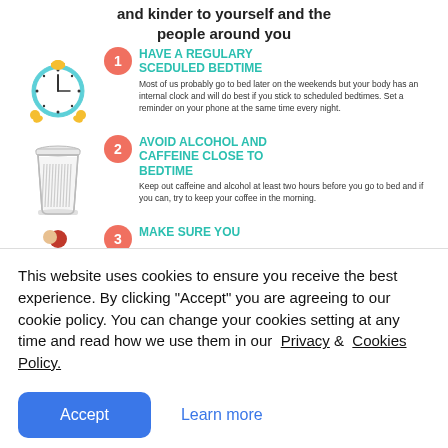and kinder to yourself and the people around you
[Figure (infographic): Infographic with sleep tips. Item 1: alarm clock icon with badge '1', heading 'HAVE A REGULARY SCEDULED BEDTIME', text about internal clock and scheduled bedtimes. Item 2: coffee cup icon with badge '2', heading 'AVOID ALCOHOL AND CAFFEINE CLOSE TO BEDTIME', text about keeping caffeine and alcohol away before bed. Item 3 (partial): person icon with badge '3', partial heading 'MAKE SURE YOU'.]
This website uses cookies to ensure you receive the best experience. By clicking "Accept" you are agreeing to our cookie policy. You can change your cookies setting at any time and read how we use them in our Privacy & Cookies Policy.
Accept   Learn more